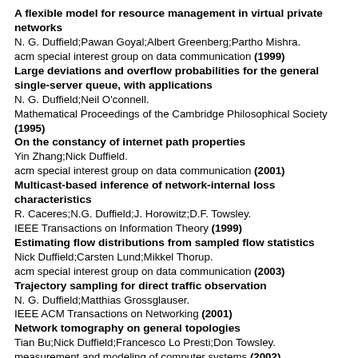A flexible model for resource management in virtual private networks
N. G. Duffield;Pawan Goyal;Albert Greenberg;Partho Mishra.
acm special interest group on data communication (1999)
Large deviations and overflow probabilities for the general single-server queue, with applications
N. G. Duffield;Neil O'connell.
Mathematical Proceedings of the Cambridge Philosophical Society (1995)
On the constancy of internet path properties
Yin Zhang;Nick Duffield.
acm special interest group on data communication (2001)
Multicast-based inference of network-internal loss characteristics
R. Caceres;N.G. Duffield;J. Horowitz;D.F. Towsley.
IEEE Transactions on Information Theory (1999)
Estimating flow distributions from sampled flow statistics
Nick Duffield;Carsten Lund;Mikkel Thorup.
acm special interest group on data communication (2003)
Trajectory sampling for direct traffic observation
N. G. Duffield;Matthias Grossglauser.
IEEE ACM Transactions on Networking (2001)
Network tomography on general topologies
Tian Bu;Nick Duffield;Francesco Lo Presti;Don Towsley.
measurement and modeling of computer systems (2002)